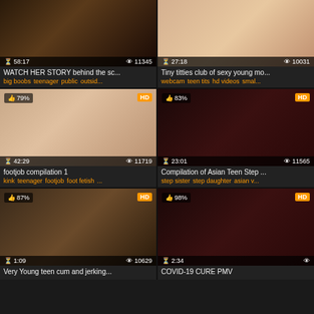[Figure (screenshot): Video thumbnail grid showing 6 adult video thumbnails with titles, tags, duration and view counts]
WATCH HER STORY behind the sc...
big boobs teenager public outsid...
Tiny titties club of sexy young mo...
webcam teen tits hd videos smal...
footjob compilation 1
kink teenager footjob foot fetish ...
Compilation of Asian Teen Step ...
step sister step daughter asian v...
Very Young teen cum and jerking...
COVID-19 CURE PMV